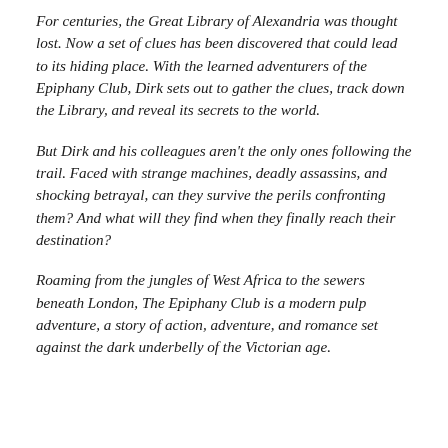For centuries, the Great Library of Alexandria was thought lost. Now a set of clues has been discovered that could lead to its hiding place. With the learned adventurers of the Epiphany Club, Dirk sets out to gather the clues, track down the Library, and reveal its secrets to the world.
But Dirk and his colleagues aren't the only ones following the trail. Faced with strange machines, deadly assassins, and shocking betrayal, can they survive the perils confronting them? And what will they find when they finally reach their destination?
Roaming from the jungles of West Africa to the sewers beneath London, The Epiphany Club is a modern pulp adventure, a story of action, adventure, and romance set against the dark underbelly of the Victorian age.